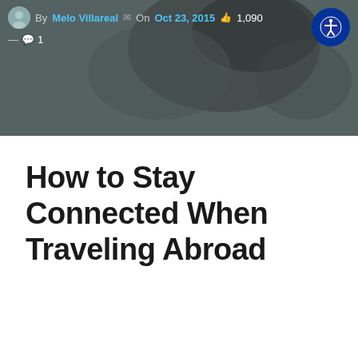[Figure (photo): Header banner photo showing hands, partially obscured by overlay. Contains metadata: By Melo Villareal, On Oct 23, 2015, 1,090 likes, 1 comment. Accessibility icon button in top right.]
How to Stay Connected When Traveling Abroad